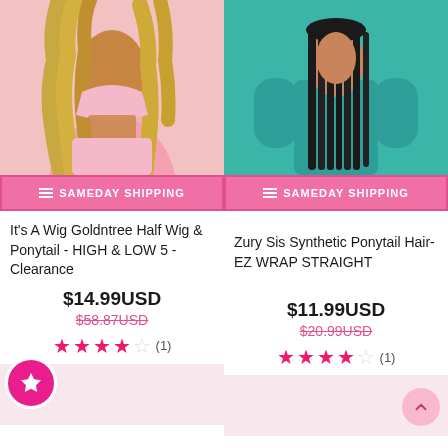[Figure (photo): Woman wearing pink crop top outfit with long wavy blonde hair]
[Figure (photo): Woman in teal long-sleeve top with straight dark hair]
SAMEDAY SHIPPING
SAMEDAY SHIPPING
It's A Wig Goldntree Half Wig & Ponytail - HIGH & LOW 5 - Clearance
Zury Sis Synthetic Ponytail Hair- EZ WRAP STRAIGHT
$14.99USD
$58.87USD
$11.99USD
$20.99USD
(1)
(1)